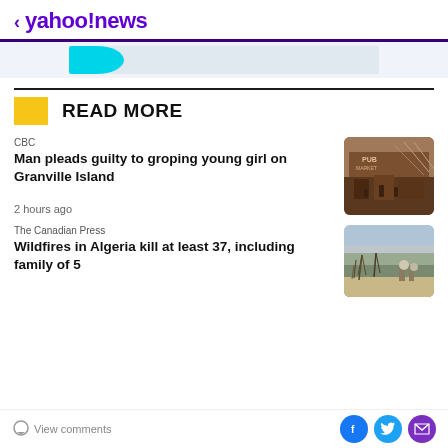< yahoo!news
[Figure (screenshot): Ad banner with teal graphic element on gray background]
READ MORE
CBC
Man pleads guilty to groping young girl on Granville Island
2 hours ago
[Figure (photo): Photo of Granville Island public market building exterior with people walking]
The Canadian Press
Wildfires in Algeria kill at least 37, including family of 5
[Figure (photo): Photo of wildfire aftermath with burned trees and people in smoke-filled landscape]
View comments